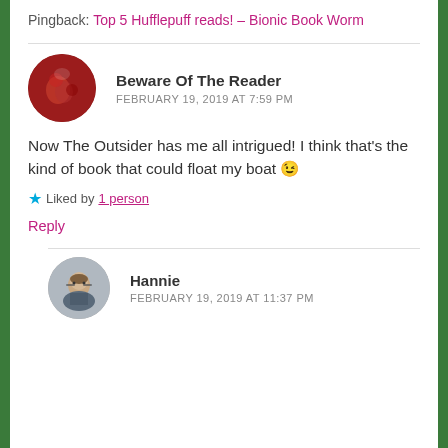Pingback: Top 5 Hufflepuff reads! – Bionic Book Worm
Beware Of The Reader
FEBRUARY 19, 2019 AT 7:59 PM
Now The Outsider has me all intrigued! I think that's the kind of book that could float my boat 😉
Liked by 1 person
Reply
Hannie
FEBRUARY 19, 2019 AT 11:37 PM